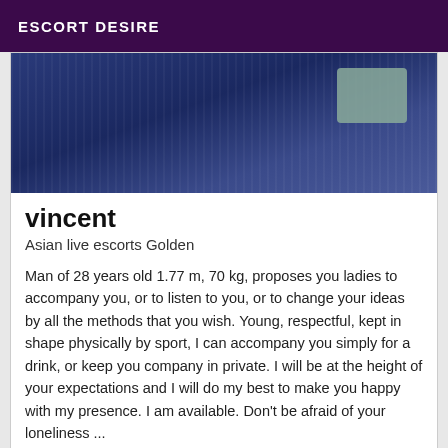ESCORT DESIRE
[Figure (photo): Close-up photo of a person wearing a blue ribbed sweater/knit top, partially visible with a grey patch detail in the upper right corner.]
vincent
Asian live escorts Golden
Man of 28 years old 1.77 m, 70 kg, proposes you ladies to accompany you, or to listen to you, or to change your ideas by all the methods that you wish. Young, respectful, kept in shape physically by sport, I can accompany you simply for a drink, or keep you company in private. I will be at the height of your expectations and I will do my best to make you happy with my presence. I am available. Don't be afraid of your loneliness ...
Verified